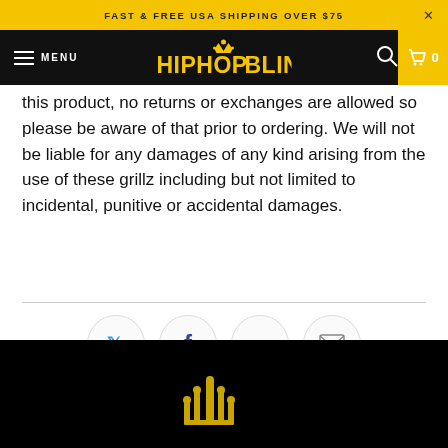FAST & FREE USA SHIPPING OVER $75
[Figure (logo): HipHopBling logo with crown icon in yellow on black nav bar]
this product, no returns or exchanges are allowed so please be aware of that prior to ordering. We will not be liable for any damages of any kind arising from the use of these grillz including but not limited to incidental, punitive or accidental damages.
[Figure (infographic): Social sharing buttons row: Twitter (blue bird), Facebook (dark f), Pinterest (red P), Email (envelope)]
[Figure (logo): HipHopBling crown logo in gold on black footer background]